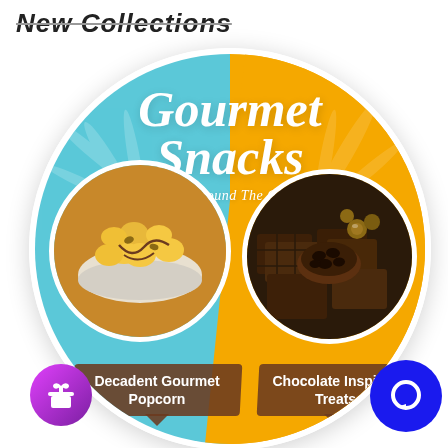New Collections
[Figure (infographic): Circular split promotional graphic for Gourmet Snacks. Left half is sky blue, right half is golden yellow. Center text reads 'Gourmet Snacks From Around The Globe' in white italic font. Lower left shows a circular photo of caramel popcorn in a bowl labeled 'Decadent Gourmet Popcorn'. Lower right shows a circular photo of dark chocolate pieces and chips labeled 'Chocolate Inspired Treats'. A purple gift icon circle appears bottom-left and a dark blue chat bubble circle appears bottom-right.]